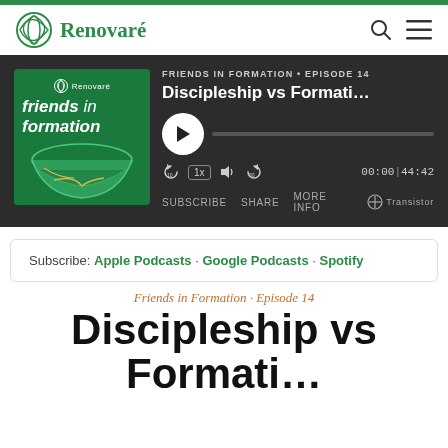Renovaré
[Figure (screenshot): Podcast player widget showing 'Friends in Formation · Episode 14 - Discipleship vs Formati...' with album art, play button, progress bar, and controls showing 00:00|44:42]
Subscribe: Apple Podcasts · Google Podcasts · Spotify
Friends in Formation · Episode 14
Discipleship vs Formation...